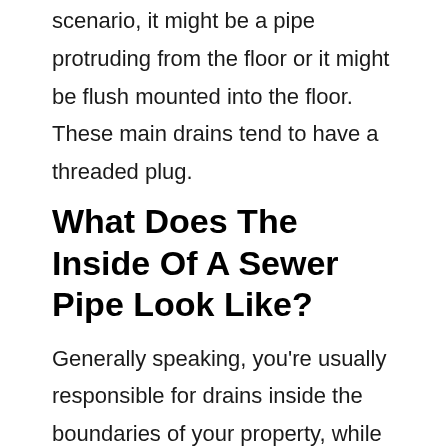scenario, it might be a pipe protruding from the floor or it might be flush mounted into the floor. These main drains tend to have a threaded plug.
What Does The Inside Of A Sewer Pipe Look Like?
Generally speaking, you're usually responsible for drains inside the boundaries of your property, while the sewerage company is responsible for lateral drains, which are usually outside of property boundaries, and sewers. Although most